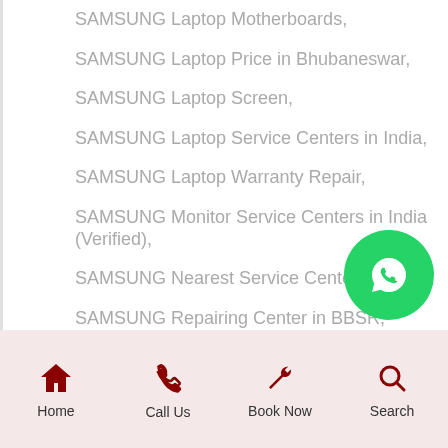SAMSUNG Laptop Motherboards,
SAMSUNG Laptop Price in Bhubaneswar,
SAMSUNG Laptop Screen,
SAMSUNG Laptop Service Centers in India,
SAMSUNG Laptop Warranty Repair,
SAMSUNG Monitor Service Centers in India (Verified),
SAMSUNG Nearest Service Center,
SAMSUNG Repairing Center in BBSR,
SAMSUNG Service Center Bhubaneswar Near Me,
SAMSUNG Service Center Near Me,
SAMSUNG Service Centre Bhubaneswar,
SAMSUNG Store Bhubaneswar,
SAMSUNG Support Center New Bhubaneswar,
Home | Call Us | Book Now | Search